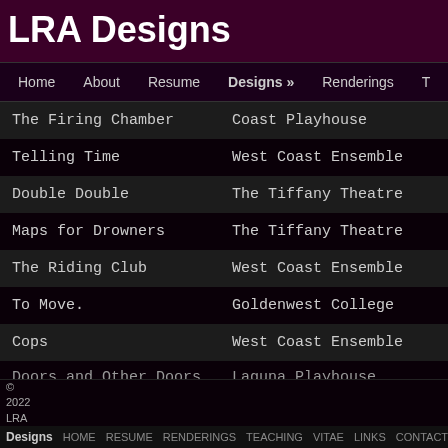LRA Designs
Home   About   Resume   Designs »   Renderings   T
The Firing Chamber | Coast Playhouse
Telling Time | West Coast Ensemble
Double Double | The Tiffany Theatre
Maps for Drowners | The Tiffany Theatre
The Riding Club | West Coast Ensemble
To Move. | Goldenwest College
Cops | West Coast Ensemble
Doors and Other Doors | Laguna Playhouse
© 2022 LRA Designs  HOME  RESUME  RENDERINGS  TEACHING  VITAE  LINKS  CONTACT